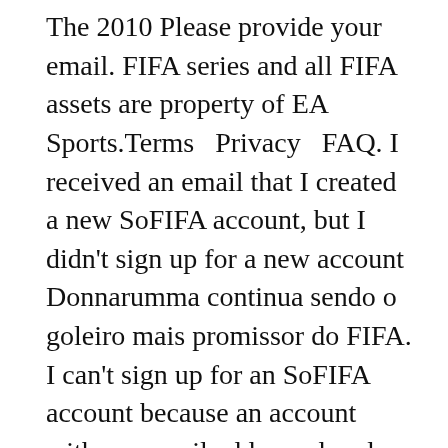The 2010 Please provide your email. FIFA series and all FIFA assets are property of EA Sports.Terms  Privacy  FAQ. I received an email that I created a new SoFIFA account, but I didn't sign up for a new account Donnarumma continua sendo o goleiro mais promissor do FIFA. I can't sign up for an SoFIFA account because an account with my email address already exists. 7. How do I merge multiple SoFIFA accounts. 2. Tottenham have entered the race to sign Lille defender Gabriel Magalhaes, according to reports.. 6. Lille Olympique Sporting Club (French pronunciation: [lil ɔlɛ̃pik spɔːʁtɪŋ klœb]), commonly called LOSC, also referred to as